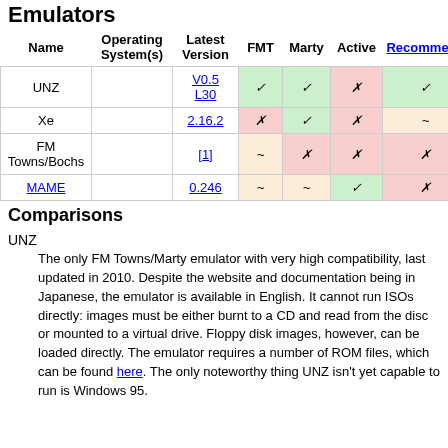Emulators
| Name | Operating System(s) | Latest Version | FMT | Marty | Active | Recommended |
| --- | --- | --- | --- | --- | --- | --- |
| UNZ |  | V0.5 L30 | ✓ | ✓ | ✗ | ✓ |
| Xe |  | 2.16.2 | ✗ | ✓ | ✗ | ~ |
| FM Towns/Bochs |  | [1] | ~ | ✗ | ✗ | ✗ |
| MAME |  | 0.246 | ~ | ~ | ✓ | ✗ |
Comparisons
UNZ
The only FM Towns/Marty emulator with very high compatibility, last updated in 2010. Despite the website and documentation being in Japanese, the emulator is available in English. It cannot run ISOs directly: images must be either burnt to a CD and read from the disc or mounted to a virtual drive. Floppy disk images, however, can be loaded directly. The emulator requires a number of ROM files, which can be found here. The only noteworthy thing UNZ isn't yet capable to run is Windows 95.